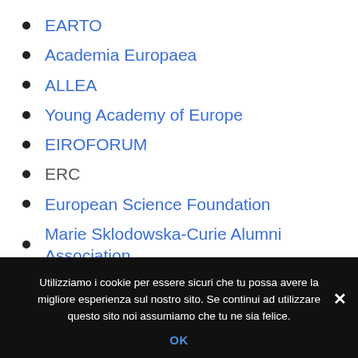EARTO
Academia Europaea
ALLEA
Young Academy of Europe
EIROFORUM
ERC
European Science Foundation
Marie Sklodowska-Curie Alumni Association
Eurodoc
Utilizziamo i cookie per essere sicuri che tu possa avere la migliore esperienza sul nostro sito. Se continui ad utilizzare questo sito noi assumiamo che tu ne sia felice.
OK